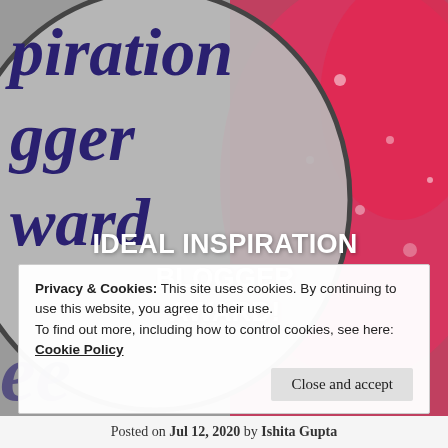[Figure (illustration): Award badge image showing 'Ideal Inspiration Blogger Award' text on a grey circular badge overlapping with a pink/red floral background image with water droplets]
IDEAL INSPIRATION BLOGGER AWARD!
Privacy & Cookies: This site uses cookies. By continuing to use this website, you agree to their use.
To find out more, including how to control cookies, see here: Cookie Policy
Close and accept
Posted on Jul 12, 2020 by Ishita Gupta